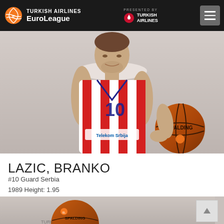TURKISH AIRLINES EuroLeague — PRESENTED BY TURKISH AIRLINES
[Figure (photo): Basketball player Branko Lazic wearing red and white striped jersey #10 with Telekom Srbija sponsor, holding a Spalding basketball, official EuroLeague team photo]
LAZIC, BRANKO
#10 Guard Serbia
1989 Height: 1.95
[Figure (photo): Partial view of another basketball player holding a Spalding basketball, cropped at bottom of page]